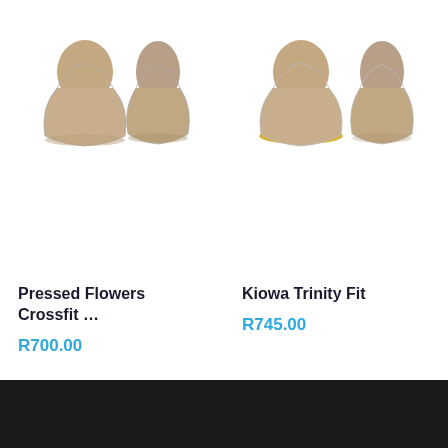[Figure (photo): Product image of Pressed Flowers Crossfit wig — two beige/taupe bell-shaped wig forms shown from front and side angles on white background]
Pressed Flowers Crossfit …
R700.00
[Figure (photo): Product image of Kiowa Trinity Fit wig — two beige/taupe bell-shaped wig forms shown from front and side angles, one with gold/yellow accent at base, white background]
Kiowa Trinity Fit
R745.00